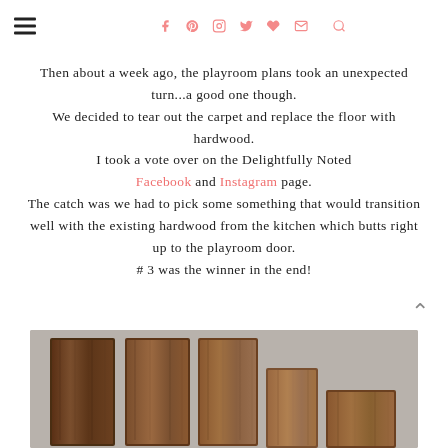Navigation header with hamburger menu and social icons (Facebook, Pinterest, Instagram, Twitter, heart, email, search)
Then about a week ago, the playroom plans took an unexpected turn...a good one though. We decided to tear out the carpet and replace the floor with hardwood. I took a vote over on the Delightfully Noted Facebook and Instagram page. The catch was we had to pick some something that would transition well with the existing hardwood from the kitchen which butts right up to the playroom door. # 3 was the winner in the end!
[Figure (photo): Photo of wood floor samples/planks laid out on carpet, showing various hardwood options in dark brown tones]